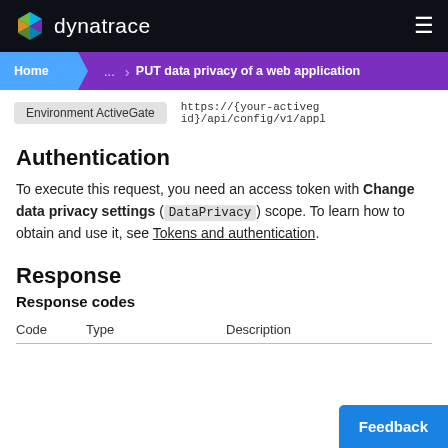dynatrace
Home > ... > PUT data privacy of a web application
Environment ActiveGate   https://{your-activegid}/api/config/v1/appl
Authentication
To execute this request, you need an access token with Change data privacy settings (DataPrivacy) scope. To learn how to obtain and use it, see Tokens and authentication.
Response
Response codes
| Code | Type | Description |
| --- | --- | --- |